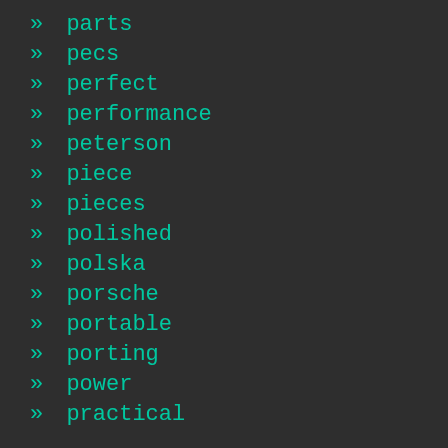» parts
» pecs
» perfect
» performance
» peterson
» piece
» pieces
» polished
» polska
» porsche
» portable
» porting
» power
» practical